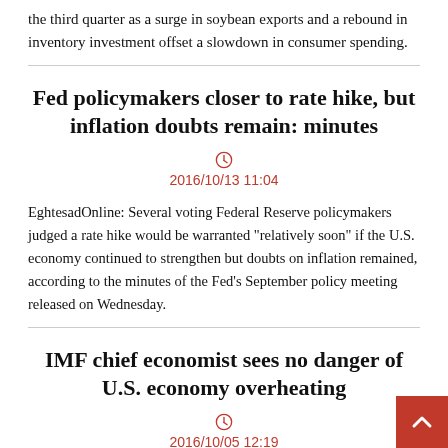the third quarter as a surge in soybean exports and a rebound in inventory investment offset a slowdown in consumer spending.
Fed policymakers closer to rate hike, but inflation doubts remain: minutes
2016/10/13 11:04
EghtesadOnline: Several voting Federal Reserve policymakers judged a rate hike would be warranted "relatively soon" if the U.S. economy continued to strengthen but doubts on inflation remained, according to the minutes of the Fed's September policy meeting released on Wednesday.
IMF chief economist sees no danger of U.S. economy overheating
2016/10/05 12:19
EghtesadOnline: The U.S. economy is not in danger of overheating, and the Federal Reserve should continue its data-dependent appro... another interest rate hike, the International Monetary Fund ch...onomist